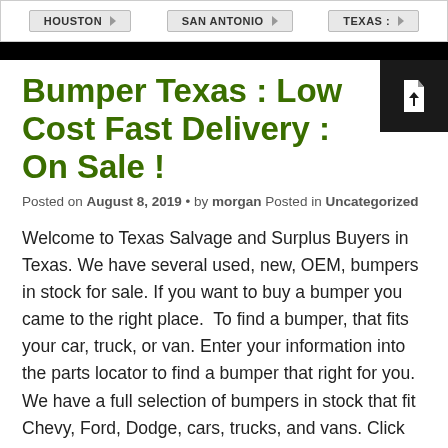HOUSTON | SAN ANTONIO | TEXAS :
Bumper Texas : Low Cost Fast Delivery : On Sale !
Posted on August 8, 2019 • by morgan Posted in Uncategorized
Welcome to Texas Salvage and Surplus Buyers in Texas. We have several used, new, OEM, bumpers in stock for sale. If you want to buy a bumper you came to the right place.  To find a bumper, that fits your car, truck, or van. Enter your information into the parts locator to find a bumper that right for you.  We have a full selection of bumpers in stock that fit Chevy, Ford, Dodge, cars, trucks, and vans. Click on the parts locater to find a bumper that fits your car. Or give us a